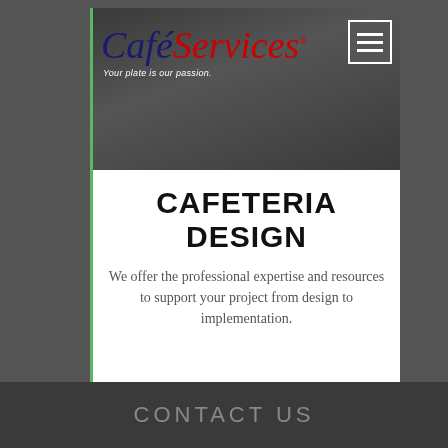[Figure (photo): Café Services logo with tagline 'Your plate is our passion.' overlaid on a dark cafeteria background photo. A hamburger menu icon is visible in the top-right corner.]
CAFETERIA DESIGN
We offer the professional expertise and resources to support your project from design to implementation.
CONTACT US